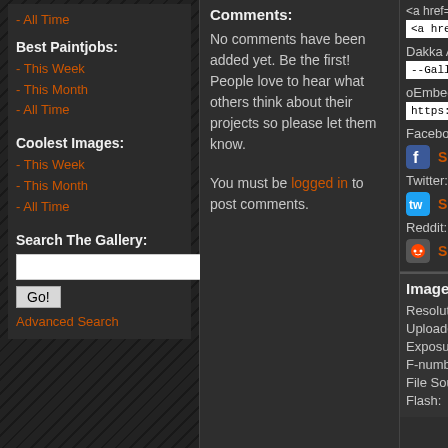- All Time
Best Paintjobs:
- This Week
- This Month
- All Time
Coolest Images:
- This Week
- This Month
- All Time
Search The Gallery:
Go!
Advanced Search
Comments:
No comments have been added yet. Be the first! People love to hear what others think about their projects so please let them know.
You must be logged in to post comments.
<a href='https://www.
Dakka Articles:
--Gallery:2012/5/8/363
oEmbed (json):
https://www.dakkadak
Facebook:
Share on facebook
Twitter:
Share on Twitter
Reddit:
Share on Reddit
Image Details:
Resolution:
Uploaded:
Exposure Time:
F-number:
File Source:
Flash: